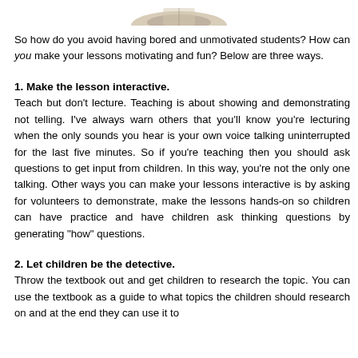[Figure (illustration): Partial image at top of page showing what appears to be a book or document, cropped at the top edge]
So how do you avoid having bored and unmotivated students? How can you make your lessons motivating and fun? Below are three ways.
1. Make the lesson interactive.
Teach but don't lecture. Teaching is about showing and demonstrating not telling. I've always warn others that you'll know you're lecturing when the only sounds you hear is your own voice talking uninterrupted for the last five minutes. So if you're teaching then you should ask questions to get input from children. In this way, you're not the only one talking. Other ways you can make your lessons interactive is by asking for volunteers to demonstrate, make the lessons hands-on so children can have practice and have children ask thinking questions by generating "how" questions.
2. Let children be the detective.
Throw the textbook out and get children to research the topic. You can use the textbook as a guide to what topics the children should research on and at the end they can use it to